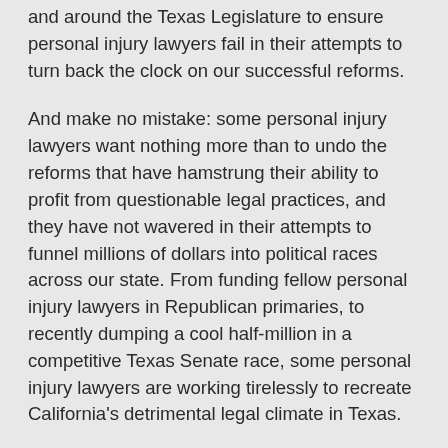and around the Texas Legislature to ensure personal injury lawyers fail in their attempts to turn back the clock on our successful reforms.
And make no mistake: some personal injury lawyers want nothing more than to undo the reforms that have hamstrung their ability to profit from questionable legal practices, and they have not wavered in their attempts to funnel millions of dollars into political races across our state. From funding fellow personal injury lawyers in Republican primaries, to recently dumping a cool half-million in a competitive Texas Senate race, some personal injury lawyers are working tirelessly to recreate California's detrimental legal climate in Texas.
The next time you head to the grocery store, or purchase your favorite mixed drink, remember that your pocketbook is taking a larger hit because of